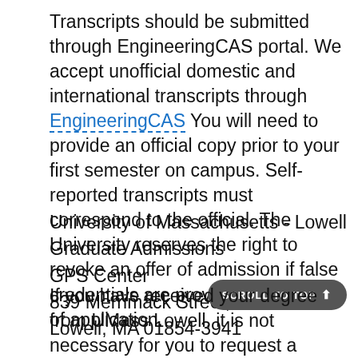Transcripts should be submitted through EngineeringCAS portal. We accept unofficial domestic and international transcripts through EngineeringCAS You will need to provide an official copy prior to your first semester on campus. Self-reported transcripts must correspond to the official. The University reserves the right to revoke an offer of admission if false credentials are provided at the point of application.
University of Massachusetts - Lowell
Graduate Admissions
GPS Center
839 Merrimack Street, 2nd Floor
Lowell, MA 01854-3941
If you have received your degree from UMass Lowell, it is not necessary for you to request a